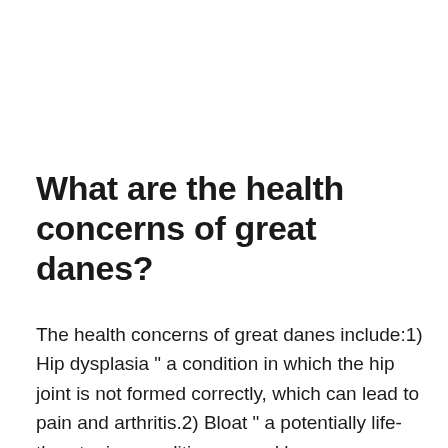What are the health concerns of great danes?
The health concerns of great danes include:1) Hip dysplasia " a condition in which the hip joint is not formed correctly, which can lead to pain and arthritis.2) Bloat " a potentially life-threatening condition caused by gas accumulation in the stomach